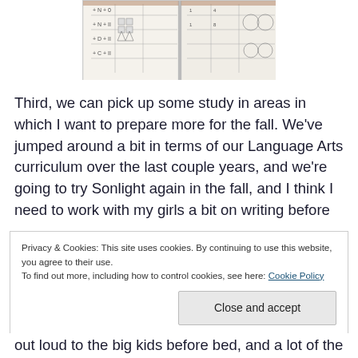[Figure (photo): Photo of an open workbook or worksheet book showing math problems with shapes and symbols in a table format]
Third, we can pick up some study in areas in which I want to prepare more for the fall. We've jumped around a bit in terms of our Language Arts curriculum over the last couple years, and we're going to try Sonlight again in the fall, and I think I need to work with my girls a bit on writing before
Privacy & Cookies: This site uses cookies. By continuing to use this website, you agree to their use.
To find out more, including how to control cookies, see here: Cookie Policy
out loud to the big kids before bed, and a lot of the